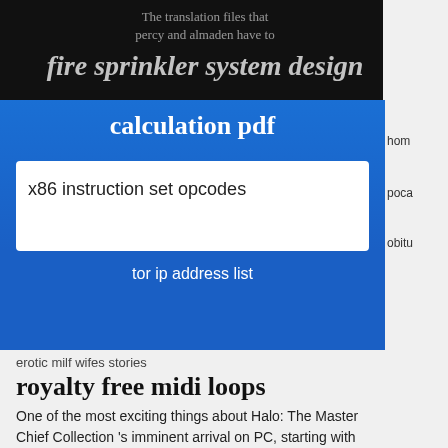The translation files that percy and almaden have to
fire sprinkler system design calculation pdf
x86 instruction set opcodes
tor ip address list
hom
poca
obitu
erotic milf wifes stories
royalty free midi loops
One of the most exciting things about Halo: The Master Chief Collection 's imminent arrival on PC, starting with Reach today, is that the modders will be able to get their hands on it. While 343.
By video travesti amateur
koora arabic tv